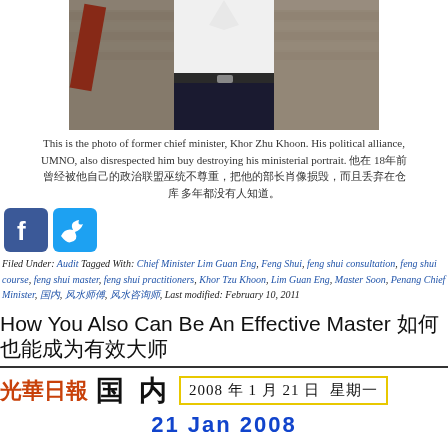[Figure (photo): Photo of former chief minister Khor Zhu Khoon, showing torso in white shirt with black belt and dark trousers, red element on left side, background of stacked papers/boxes]
This is the photo of former chief minister, Khor Zhu Khoon. His political alliance, UMNO, also disrespected him buy destroying his ministerial portrait. 他在18年前曾经被他自己的政治联盟巫统不尊重，把他的部长肖像损毁。
[Figure (other): Social media icons: Facebook (blue square with f) and Twitter (light blue square with bird)]
Filed Under: Audit Tagged With: Chief Minister Lim Guan Eng, Feng Shui, feng shui consultation, feng shui course, feng shui master, feng shui practitioners, Khor Tzu Khoon, Lim Guan Eng, Master Soon, Penang Chief Minister, 国内, 风水师傅, 风水咨询师, Last modified: February 10, 2011
How You Also Can Be An Effective Master 如何成为有效的大师
[Figure (other): Newspaper header: 光华日报 (Kwong Wah Yit Poh) with sections 国内 and date box 2008年1月21日 星期一, followed by 21 Jan 2008 in blue]